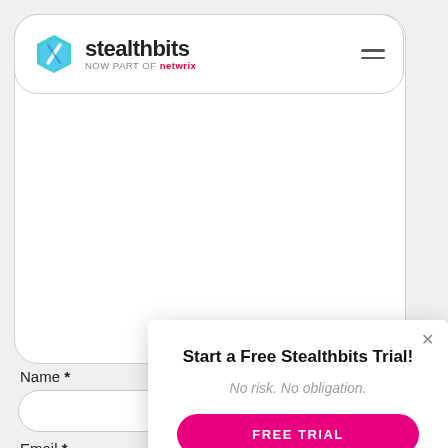[Figure (logo): Stealthbits logo with hexagonal blue icon and text 'stealthbits NOW PART OF netwrix' inside a rounded white navigation bar]
Name *
Email *
Website
Start a Free Stealthbits Trial!
No risk. No obligation.
FREE TRIAL